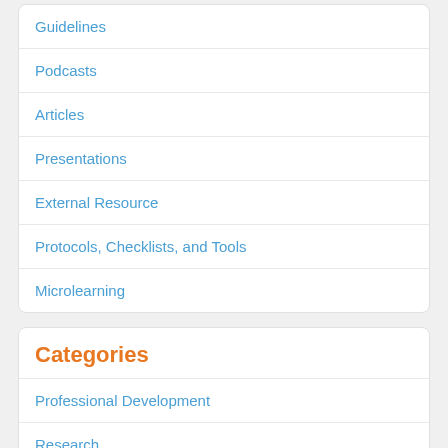Guidelines
Podcasts
Articles
Presentations
External Resource
Protocols, Checklists, and Tools
Microlearning
Categories
Professional Development
Research
Quality and Patient Safety
Epidemiology-Outcomes
Ethics and End of Life